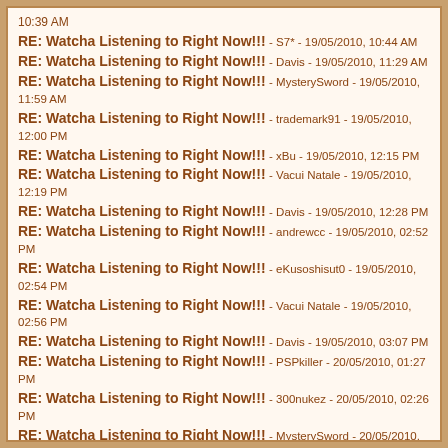10:39 AM
RE: Watcha Listening to Right Now!!! - S7* - 19/05/2010, 10:44 AM
RE: Watcha Listening to Right Now!!! - Davis - 19/05/2010, 11:29 AM
RE: Watcha Listening to Right Now!!! - MysterySword - 19/05/2010, 11:59 AM
RE: Watcha Listening to Right Now!!! - trademark91 - 19/05/2010, 12:00 PM
RE: Watcha Listening to Right Now!!! - xBu - 19/05/2010, 12:15 PM
RE: Watcha Listening to Right Now!!! - Vacui Natale - 19/05/2010, 12:19 PM
RE: Watcha Listening to Right Now!!! - Davis - 19/05/2010, 12:28 PM
RE: Watcha Listening to Right Now!!! - andrewcc - 19/05/2010, 02:52 PM
RE: Watcha Listening to Right Now!!! - eKusoshisut0 - 19/05/2010, 02:54 PM
RE: Watcha Listening to Right Now!!! - Vacui Natale - 19/05/2010, 02:56 PM
RE: Watcha Listening to Right Now!!! - Davis - 19/05/2010, 03:07 PM
RE: Watcha Listening to Right Now!!! - PSPkiller - 20/05/2010, 01:27 PM
RE: Watcha Listening to Right Now!!! - 300nukez - 20/05/2010, 02:26 PM
RE: Watcha Listening to Right Now!!! - MysterySword - 20/05/2010, 02:41 PM
RE: Watcha Listening to Right Now!!! - Davis - 20/05/2010, 02:50